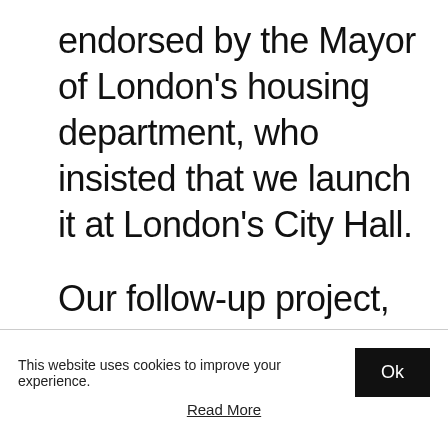endorsed by the Mayor of London's housing department, who insisted that we launch it at London's City Hall.
Our follow-up project, will develop a series of resident-led pledges
This website uses cookies to improve your experience.
Ok
Read More